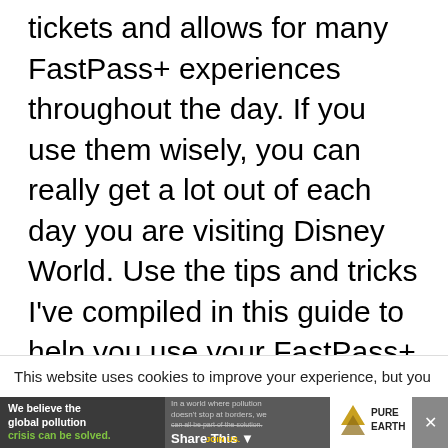tickets and allows for many FastPass+ experiences throughout the day. If you use them wisely, you can really get a lot out of each day you are visiting Disney World. Use the tips and tricks I've compiled in this guide to help you use your FastPass+ selections as effectively as possible.
This website uses cookies to improve your experience, but you
[Figure (infographic): Pure Earth advertisement banner: 'We believe the global pollution crisis can be solved.' with small text about world pollution and a Share This button with a dropdown arrow, and Pure Earth logo on the right.]